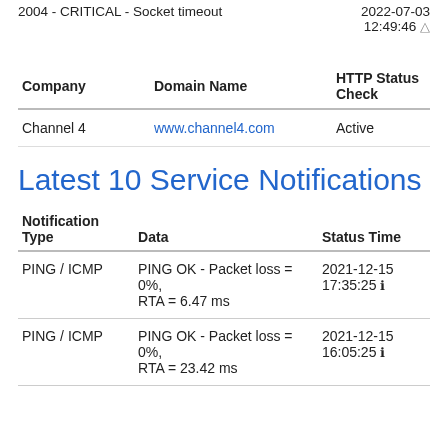2004 - CRITICAL - Socket timeout	2022-07-03 12:49:46 ▲
| Company | Domain Name | HTTP Status Check |
| --- | --- | --- |
| Channel 4 | www.channel4.com | Active |
Latest 10 Service Notifications
| Notification Type | Data | Status Time |
| --- | --- | --- |
| PING / ICMP | PING OK - Packet loss = 0%, RTA = 6.47 ms | 2021-12-15 17:35:25 ℹ |
| PING / ICMP | PING OK - Packet loss = 0%, RTA = 23.42 ms | 2021-12-15 16:05:25 ℹ |